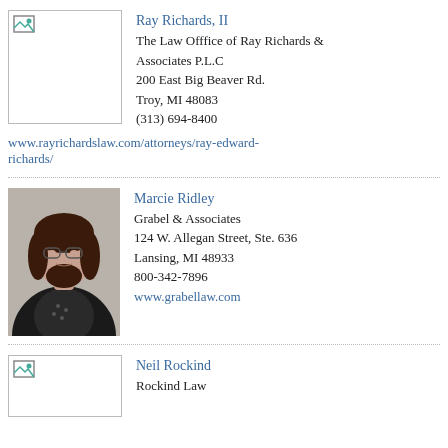[Figure (photo): Placeholder photo box for Ray Richards II with broken image icon]
Ray Richards, II
The Law Offfice of Ray Richards & Associates P.L.C
200 East Big Beaver Rd.
Troy, MI 48083
(313) 694-8400
www.rayrichardslaw.com/attorneys/ray-edward-richards/
[Figure (photo): Headshot photo of Marcie Ridley, a woman with dark hair and glasses wearing a black jacket]
Marcie Ridley
Grabel & Associates
124 W. Allegan Street, Ste. 636
Lansing, MI 48933
800-342-7896
www.grabellaw.com
[Figure (photo): Placeholder photo box for Neil Rockind with broken image icon]
Neil Rockind
Rockind Law